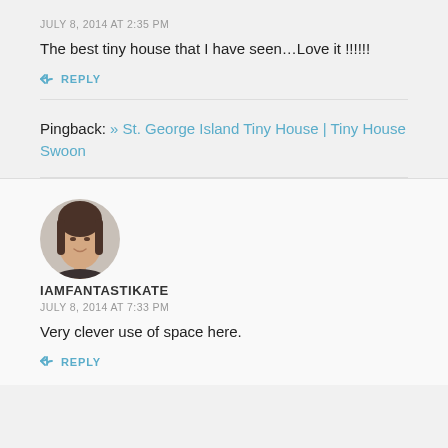JULY 8, 2014 AT 2:35 PM
The best tiny house that I have seen…Love it !!!!!!
↩ REPLY
Pingback: » St. George Island Tiny House | Tiny House Swoon
[Figure (photo): Circular avatar photo of a young woman with dark hair, smiling slightly]
IAMFANTASTIKATE
JULY 8, 2014 AT 7:33 PM
Very clever use of space here.
↩ REPLY